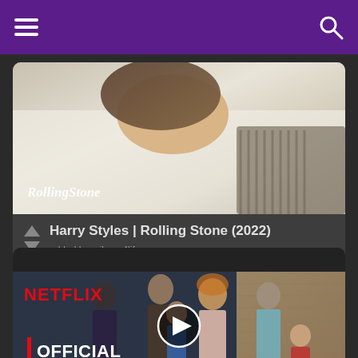Navigation bar with hamburger menu and search icon
[Figure (screenshot): Harry Styles Rolling Stone magazine cover photo - person lying down with knitted sweater, Rolling Stone logo watermark]
Harry Styles | Rolling Stone (2022)
added by mjlover4lifs
[Figure (screenshot): Netflix Official Teaser thumbnail showing a group of people/family standing together in front of a building, with Netflix logo, play button, and OFFICIAL TEASER text overlay]